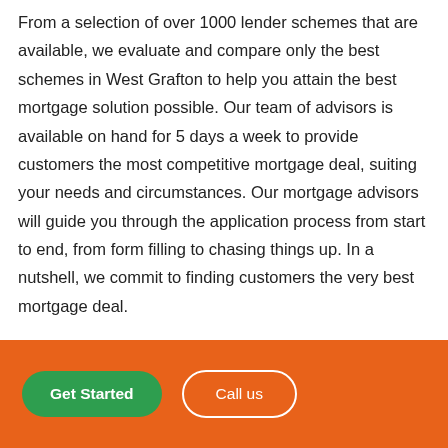From a selection of over 1000 lender schemes that are available, we evaluate and compare only the best schemes in West Grafton to help you attain the best mortgage solution possible. Our team of advisors is available on hand for 5 days a week to provide customers the most competitive mortgage deal, suiting your needs and circumstances. Our mortgage advisors will guide you through the application process from start to end, from form filling to chasing things up. In a nutshell, we commit to finding customers the very best mortgage deal.